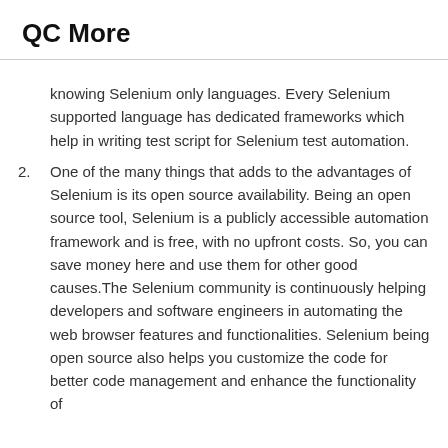QC More
knowing Selenium only languages. Every Selenium supported language has dedicated frameworks which help in writing test script for Selenium test automation.
2. One of the many things that adds to the advantages of Selenium is its open source availability. Being an open source tool, Selenium is a publicly accessible automation framework and is free, with no upfront costs. So, you can save money here and use them for other good causes.The Selenium community is continuously helping developers and software engineers in automating the web browser features and functionalities. Selenium being open source also helps you customize the code for better code management and enhance the functionality of